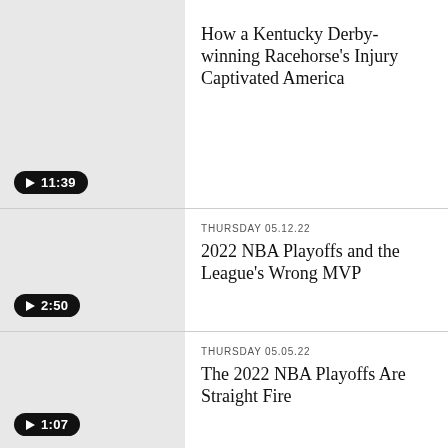[Figure (screenshot): Video thumbnail placeholder (gray) with play button showing 11:39 duration. Article: How a Kentucky Derby-winning Racehorse's Injury Captivated America]
How a Kentucky Derby-winning Racehorse's Injury Captivated America
[Figure (screenshot): Video thumbnail placeholder (gray) with play button showing 2:50 duration.]
THURSDAY 05.12.22
2022 NBA Playoffs and the League's Wrong MVP
[Figure (screenshot): Video thumbnail placeholder (gray) with play button showing 1:07 duration.]
THURSDAY 05.05.22
The 2022 NBA Playoffs Are Straight Fire
[Figure (screenshot): Video thumbnail placeholder (gray), partial view at bottom.]
WEDNESDAY 05.04.22
The 2022 NFL Draft...